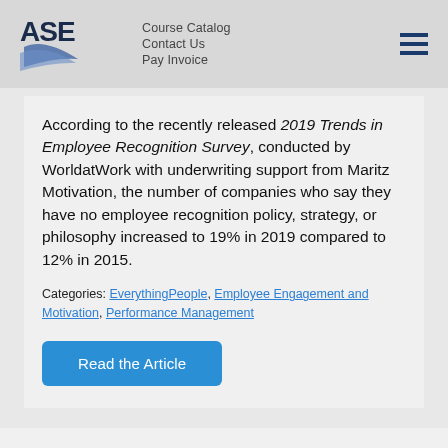ASE | Course Catalog | Contact Us | Pay Invoice
According to the recently released 2019 Trends in Employee Recognition Survey, conducted by WorldatWork with underwriting support from Maritz Motivation, the number of companies who say they have no employee recognition policy, strategy, or philosophy increased to 19% in 2019 compared to 12% in 2015.
Categories: EverythingPeople, Employee Engagement and Motivation, Performance Management
Read the Article